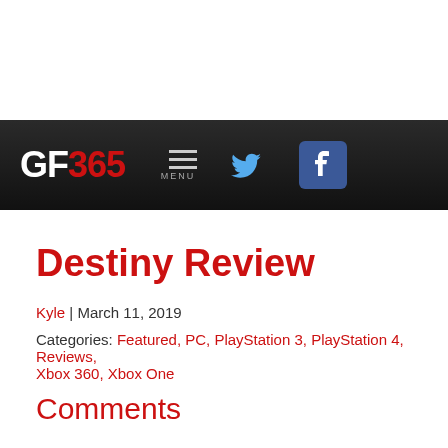[Figure (logo): GF365 website navigation bar with logo, menu icon, Twitter and Facebook icons on dark background]
Destiny Review
Kyle | March 11, 2019
Categories: Featured, PC, PlayStation 3, PlayStation 4, Reviews, Xbox 360, Xbox One
Comments